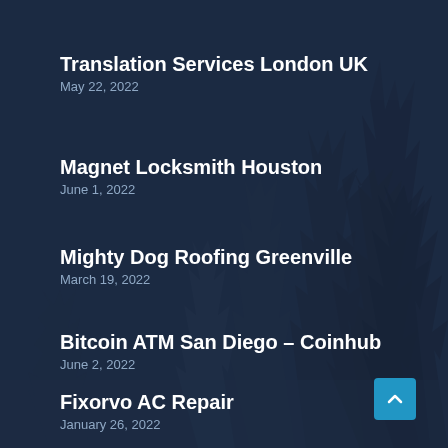[Figure (illustration): Dark navy blue background with silhouettes of pine/fir trees in varying sizes, creating a forest scene]
Translation Services London UK
May 22, 2022
Magnet Locksmith Houston
June 1, 2022
Mighty Dog Roofing Greenville
March 19, 2022
Bitcoin ATM San Diego – Coinhub
June 2, 2022
Fixorvo AC Repair
January 26, 2022